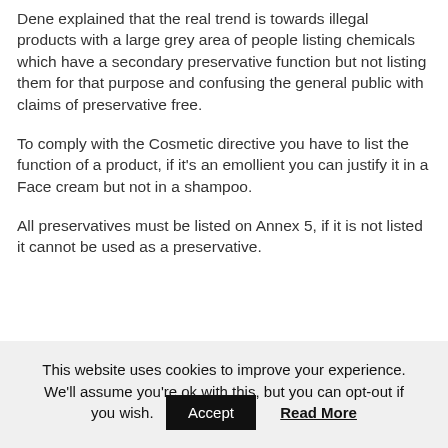Dene explained that the real trend is towards illegal products with a large grey area of people listing chemicals which have a secondary preservative function but not listing them for that purpose and confusing the general public with claims of preservative free.
To comply with the Cosmetic directive you have to list the function of a product, if it's an emollient you can justify it in a Face cream but not in a shampoo.
All preservatives must be listed on Annex 5, if it is not listed it cannot be used as a preservative.
This website uses cookies to improve your experience. We'll assume you're ok with this, but you can opt-out if you wish.